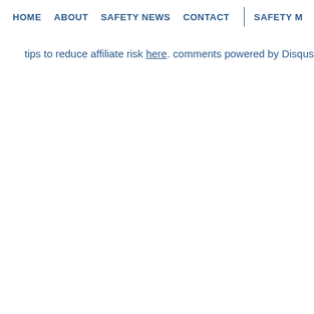HOME   ABOUT   SAFETY NEWS   CONTACT   |   SAFETY M
tips to reduce affiliate risk here.
comments powered by Disqus